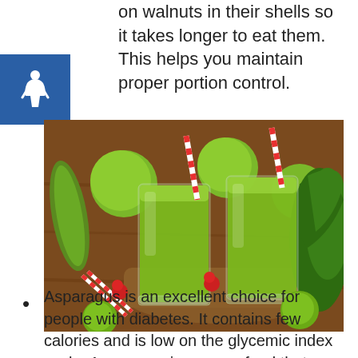on walnuts in their shells so it takes longer to eat them. This helps you maintain proper portion control.
[Figure (photo): Two tall glasses of green vegetable juice with red and white striped straws, surrounded by green apples, cucumbers, raspberries, limes, and kale on a wooden surface.]
Asparagus is an excellent choice for people with diabetes. It contains few calories and is low on the glycemic index scale. Asparagus is a super-food that contains many vitamins and